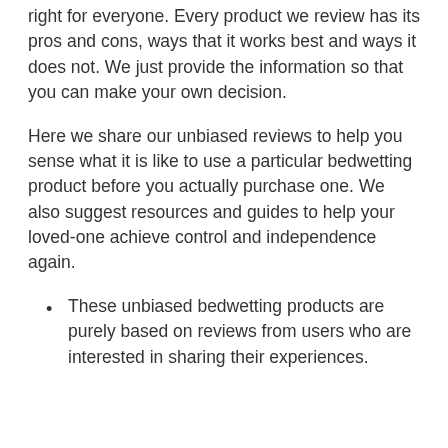right for everyone. Every product we review has its pros and cons, ways that it works best and ways it does not. We just provide the information so that you can make your own decision.
Here we share our unbiased reviews to help you sense what it is like to use a particular bedwetting product before you actually purchase one. We also suggest resources and guides to help your loved-one achieve control and independence again.
These unbiased bedwetting products are purely based on reviews from users who are interested in sharing their experiences.